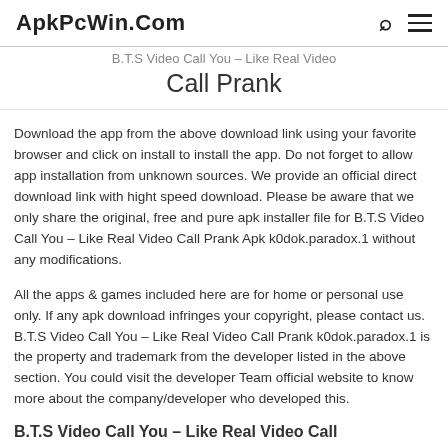ApkPcWin.Com
B.T.S Video Call You – Like Real Video Call Prank
Download the app from the above download link using your favorite browser and click on install to install the app. Do not forget to allow app installation from unknown sources. We provide an official direct download link with hight speed download. Please be aware that we only share the original, free and pure apk installer file for B.T.S Video Call You – Like Real Video Call Prank Apk k0dok.paradox.1 without any modifications.
All the apps & games included here are for home or personal use only. If any apk download infringes your copyright, please contact us. B.T.S Video Call You – Like Real Video Call Prank k0dok.paradox.1 is the property and trademark from the developer listed in the above section. You could visit the developer Team official website to know more about the company/developer who developed this.
B.T.S Video Call You – Like Real Video Call